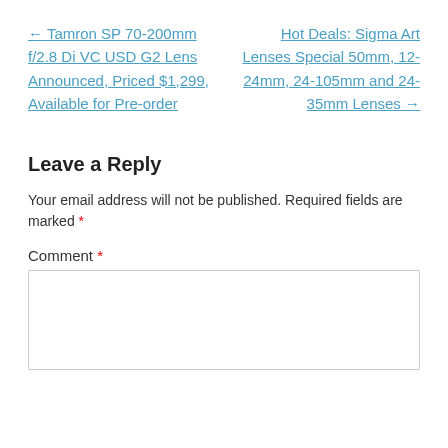← Tamron SP 70-200mm f/2.8 Di VC USD G2 Lens Announced, Priced $1,299, Available for Pre-order
Hot Deals: Sigma Art Lenses Special 50mm, 12-24mm, 24-105mm and 24-35mm Lenses →
Leave a Reply
Your email address will not be published. Required fields are marked *
Comment *